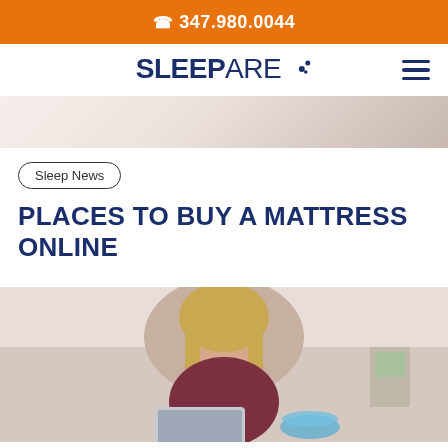📞 347.980.0044
SLEEPARE
[Figure (photo): Partial view of a person on a bed with white bedding, hero banner image cropped at top]
Sleep News
PLACES TO BUY A MATTRESS ONLINE
[Figure (photo): Young woman with long blonde hair smiling, lying on a bed, looking at a laptop and holding a popcorn bowl]